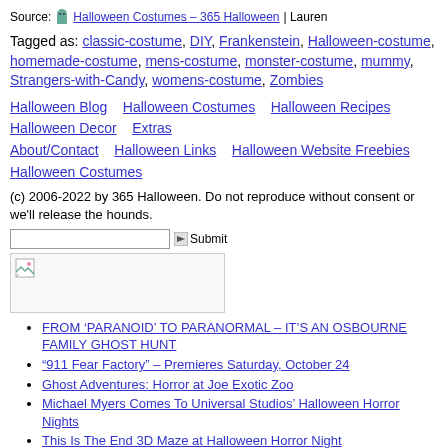Source: [icon] Halloween Costumes – 365 Halloween | Lauren
Tagged as: classic-costume, DIY, Frankenstein, Halloween-costume, homemade-costume, mens-costume, monster-costume, mummy, Strangers-with-Candy, womens-costume, Zombies
Halloween Blog    Halloween Costumes    Halloween Recipes Halloween Decor    Extras About/Contact    Halloween Links    Halloween Website Freebies Halloween Costumes
(c) 2006-2022 by 365 Halloween. Do not reproduce without consent or we'll release the hounds.
[Figure (other): Search input box and submit button]
[Figure (photo): Small image placeholder with broken image icon]
FROM ‘PARANOID’ TO PARANORMAL – IT’S AN OSBOURNE FAMILY GHOST HUNT
“911 Fear Factory” – Premieres Saturday, October 24
Ghost Adventures: Horror at Joe Exotic Zoo
Michael Myers Comes To Universal Studios’ Halloween Horror Nights
This Is The End 3D Maze at Halloween Horror Night
Celebrate Horror with CONtv’s Creep Con!